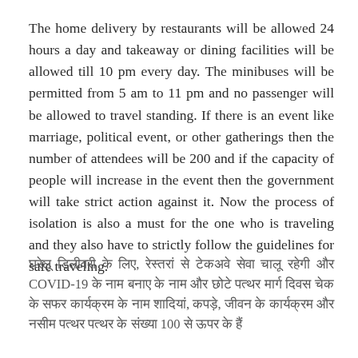The home delivery by restaurants will be allowed 24 hours a day and takeaway or dining facilities will be allowed till 10 pm every day. The minibuses will be permitted from 5 am to 11 pm and no passenger will be allowed to travel standing. If there is an event like marriage, political event, or other gatherings then the number of attendees will be 200 and if the capacity of people will increase in the event then the government will take strict action against it. Now the process of isolation is also a must for the one who is traveling and they also have to strictly follow the guidelines for safe traveling.
[Hindi text paragraph about COVID-19 guidelines including reference to 100]